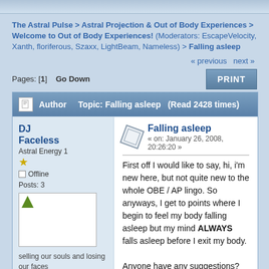The Astral Pulse > Astral Projection & Out of Body Experiences > Welcome to Out of Body Experiences! (Moderators: EscapeVelocity, Xanth, floriferous, Szaxx, LightBeam, Nameless) > Falling asleep
« previous next »
Pages: [1]   Go Down
PRINT
Author   Topic: Falling asleep  (Read 2428 times)
DJ Faceless
Astral Energy 1
Offline
Posts: 3
selling our souls and losing our faces
Falling asleep
« on: January 26, 2008, 20:26:20 »
First off I would like to say, hi, i'm new here, but not quite new to the whole OBE / AP lingo. So anyways, I get to points where I begin to feel my body falling asleep but my mind ALWAYS falls asleep before I exit my body.

Anyone have any suggestions?

Thanks